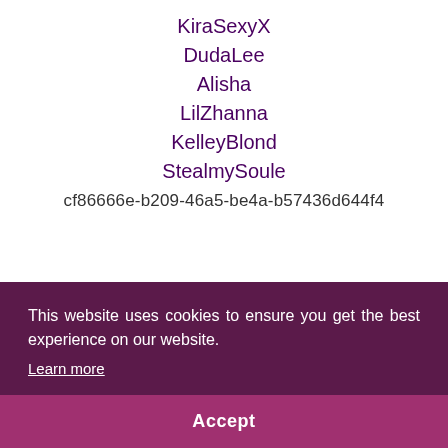KiraSexyX
DudaLee
Alisha
LilZhanna
KelleyBlond
StealmySoule
cf86666e-b209-46a5-be4a-b57436d644f4
This website uses cookies to ensure you get the best experience on our website. Learn more
Accept